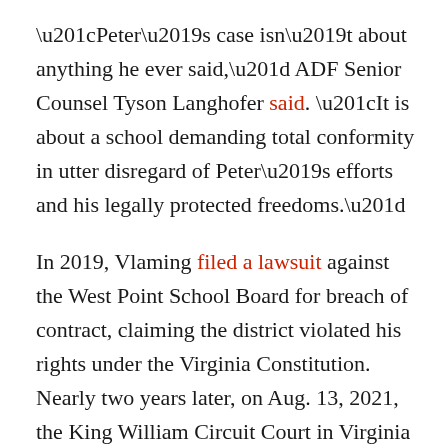“Peter’s case isn’t about anything he ever said,” ADF Senior Counsel Tyson Langhofer said. “It is about a school demanding total conformity in utter disregard of Peter’s efforts and his legally protected freedoms.”
In 2019, Vlaming filed a lawsuit against the West Point School Board for breach of contract, claiming the district violated his rights under the Virginia Constitution. Nearly two years later, on Aug. 13, 2021, the King William Circuit Court in Virginia dismissed Vlaming’s claim without comment.
Vlaming, a father of four, hasn’t been able to find another public school teaching position. His suit seeks his reinstatement to his former job at equal or higher